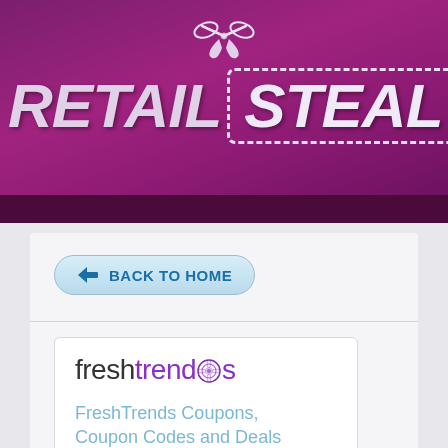[Figure (logo): Retail Steal logo with scissors icon above dashed box containing 'STEAL', on purple background]
[Figure (logo): FreshTrends logo with stylized 'o' in purple]
FreshTrends Coupons, Coupon Codes and Deals
[Figure (screenshot): Screenshot of FreshTrends website header with logo and login/cart links]